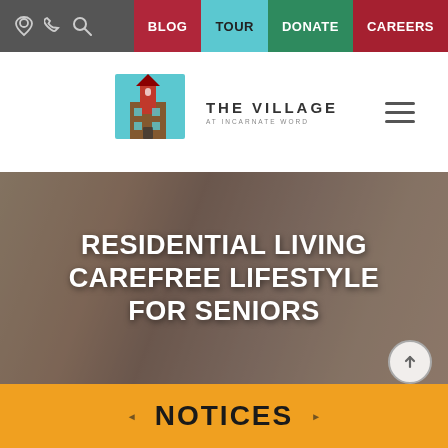BLOG | TOUR | DONATE | CAREERS
[Figure (logo): The Village at Incarnate Word logo — building with red tower on cyan background]
[Figure (photo): Two women (senior and younger caregiver) looking at something together and smiling, with earphones]
RESIDENTIAL LIVING CAREFREE LIFESTYLE FOR SENIORS
INDEPENDENT LIVING
NOTICES